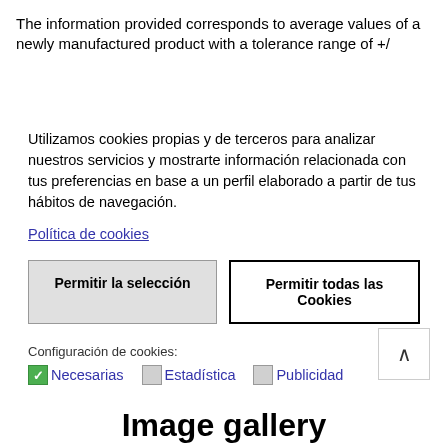The information provided corresponds to average values of a newly manufactured product with a tolerance range of +/
Utilizamos cookies propias y de terceros para analizar nuestros servicios y mostrarte información relacionada con tus preferencias en base a un perfil elaborado a partir de tus hábitos de navegación.
Política de cookies
Permitir la selección
Permitir todas las Cookies
Configuración de cookies:
Necesarias   Estadística   Publicidad
[Figure (screenshot): Scroll to top button with upward arrow]
Image gallery